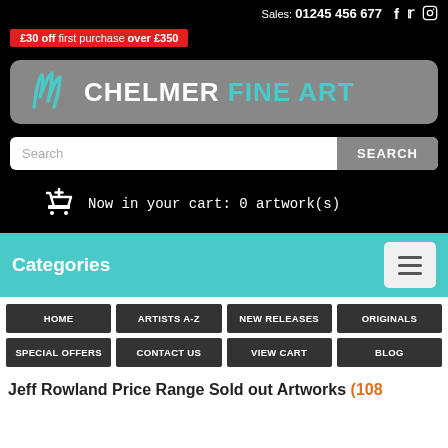Sales: 01245 456 677
£30 off first purchase over £350
[Figure (logo): Chelmer Fine Art logo with teal brush-stroke icon and text CHELMER FINE ART on grey rounded rectangle background]
Search
Now in your cart: 0 artwork(s)
Categories
HOME
ARTISTS A-Z
NEW RELEASES
ORIGINALS
SPECIAL OFFERS
CONTACT US
VIEW CART
BLOG
Jeff Rowland Price Range Sold out Artworks (108